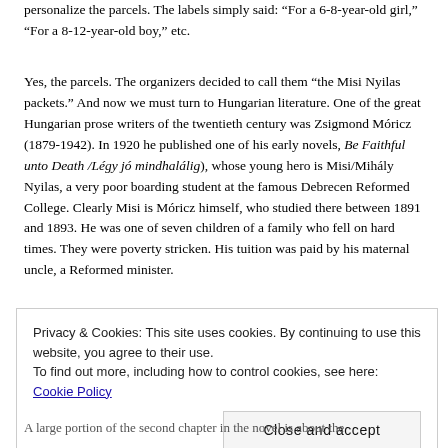personalize the parcels. The labels simply said: “For a 6-8-year-old girl,” “For a 8-12-year-old boy,” etc.
Yes, the parcels. The organizers decided to call them “the Misi Nyilas packets.” And now we must turn to Hungarian literature. One of the great Hungarian prose writers of the twentieth century was Zsigmond Móricz (1879-1942). In 1920 he published one of his early novels, Be Faithful unto Death /Légy jó mindhalálig), whose young hero is Misi/Mihály Nyilas, a very poor boarding student at the famous Debrecen Reformed College. Clearly Misi is Móricz himself, who studied there between 1891 and 1893. He was one of seven children of a family who fell on hard times. They were poverty stricken. His tuition was paid by his maternal uncle, a Reformed minister.
Privacy & Cookies: This site uses cookies. By continuing to use this website, you agree to their use. To find out more, including how to control cookies, see here: Cookie Policy
Close and accept
A large portion of the second chapter in the novel is about the